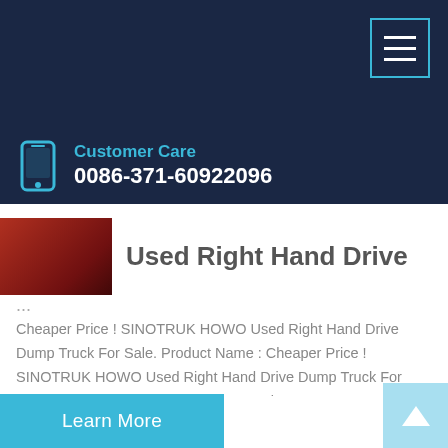Customer Care
0086-371-60922096
Used Right Hand Drive
...
Cheaper Price ! SINOTRUK HOWO Used Right Hand Drive Dump Truck For Sale. Product Name : Cheaper Price ! SINOTRUK HOWO Used Right Hand Drive Dump Truck For Sale. Product ID : ZZ3257N3847C. Engine : WD615.47, 371HP. Gearbox : HW19710, 10 forward and 2 reverse gear. Cabin : 80% new parts, with one bed. Bucket : 5600x2300x1500mm.
Learn More